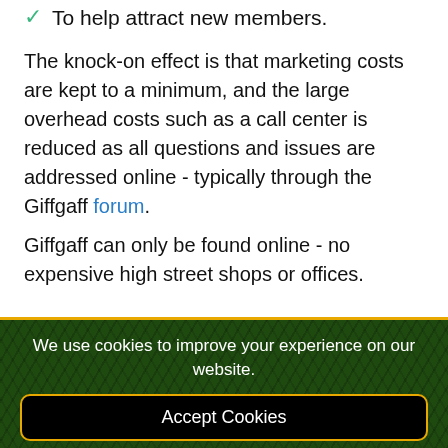To help attract new members.
The knock-on effect is that marketing costs are kept to a minimum, and the large overhead costs such as a call center is reduced as all questions and issues are addressed online - typically through the Giffgaff forum.
Giffgaff can only be found online - no expensive high street shops or offices.
We use cookies to improve your experience on our website.
Accept Cookies
Decline Cookies
About Cookies
Privacy and Cookie Policy